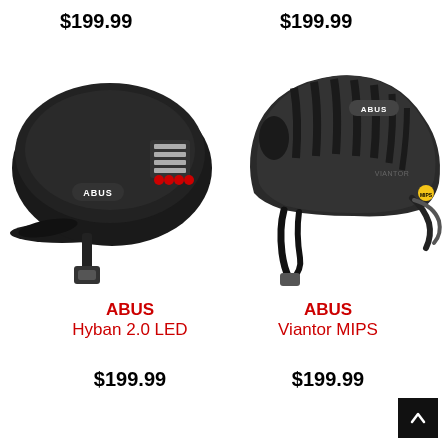$199.99
$199.99
[Figure (photo): ABUS Hyban 2.0 LED bicycle helmet in black, side view, with red LED lights on rear]
[Figure (photo): ABUS Viantor MIPS road bicycle helmet in black, side view]
ABUS Hyban 2.0 LED
ABUS Viantor MIPS
$199.99
$199.99